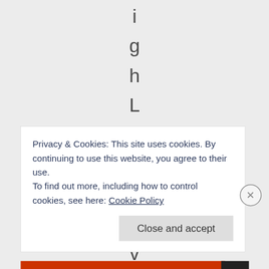i g h L D L l e v e l
Privacy & Cookies: This site uses cookies. By continuing to use this website, you agree to their use.
To find out more, including how to control cookies, see here: Cookie Policy
Close and accept